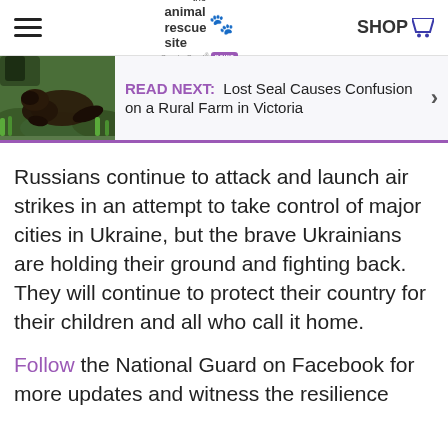the animal rescue site — GreaterGood NEWS | SHOP
[Figure (photo): Photo of a seal on green grass, part of a READ NEXT banner]
READ NEXT: Lost Seal Causes Confusion on a Rural Farm in Victoria
Russians continue to attack and launch air strikes in an attempt to take control of major cities in Ukraine, but the brave Ukrainians are holding their ground and fighting back. They will continue to protect their country for their children and all who call it home.
Follow the National Guard on Facebook for more updates and witness the resilience